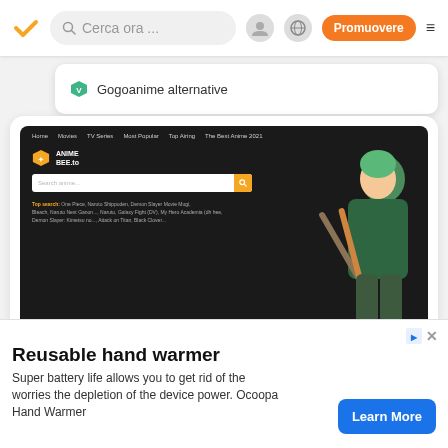[Figure (screenshot): Mobile app navigation bar with orange checkmark logo, search field 'Cerca ora ...', user icon, globe icon, orange 'Promuovere' button, and hamburger menu]
[Figure (screenshot): Search suggestion card showing 'Gogoanime alternative' with a green shield/VPN icon]
[Figure (screenshot): Anime website screenshot for 'Anime Bee' showing dark-themed site with navigation (Home, Movies, TV Series, Most Popular, Top Airing, The Best Anime 2021), logo, search bar, anime character (Zoro from One Piece), View Full Site button, and social sharing bar]
[Figure (screenshot): Advertisement banner for 'Reusable hand warmer' by Ocoopa with blue 'Learn More' button. Text: Super battery life allows you to get rid of the worries the depletion of the device power. Ocoopa Hand Warmer]